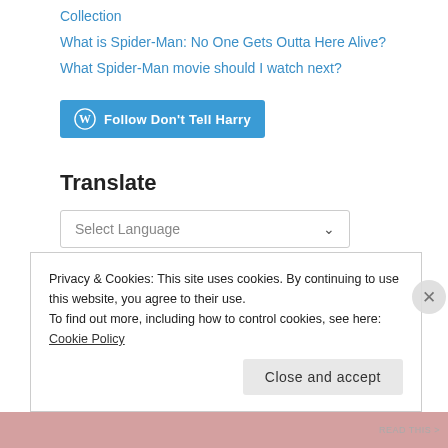Collection
What is Spider-Man: No One Gets Outta Here Alive?
What Spider-Man movie should I watch next?
[Figure (other): WordPress Follow button: 'Follow Don't Tell Harry']
Translate
[Figure (other): Google Translate widget with Select Language dropdown]
Powered by Google Translate
Blo...
Privacy & Cookies: This site uses cookies. By continuing to use this website, you agree to their use.
To find out more, including how to control cookies, see here: Cookie Policy
Close and accept